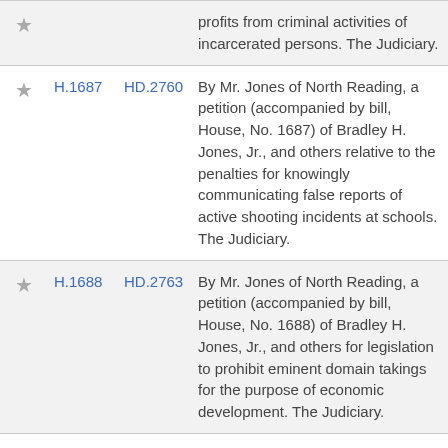|  | Bill | HD | Description |
| --- | --- | --- | --- |
| ★ |  |  | profits from criminal activities of incarcerated persons. The Judiciary. |
| ★ | H.1687 | HD.2760 | By Mr. Jones of North Reading, a petition (accompanied by bill, House, No. 1687) of Bradley H. Jones, Jr., and others relative to the penalties for knowingly communicating false reports of active shooting incidents at schools. The Judiciary. |
| ★ | H.1688 | HD.2763 | By Mr. Jones of North Reading, a petition (accompanied by bill, House, No. 1688) of Bradley H. Jones, Jr., and others for legislation to prohibit eminent domain takings for the purpose of economic development. The Judiciary. |
| ★ | H.1689 | HD.2766 | By Mr. Jones of North Reading, a petition (accompanied by bill... |